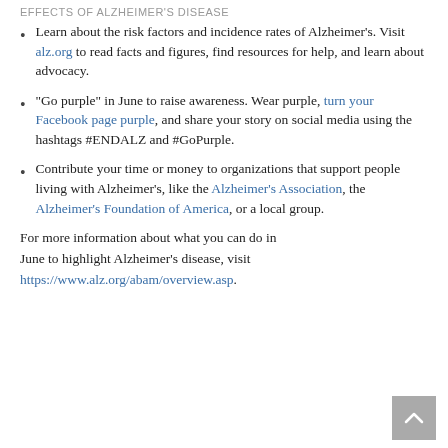EFFECTS OF ALZHEIMER'S DISEASE
Learn about the risk factors and incidence rates of Alzheimer's. Visit alz.org to read facts and figures, find resources for help, and learn about advocacy.
“Go purple” in June to raise awareness. Wear purple, turn your Facebook page purple, and share your story on social media using the hashtags #ENDALZ and #GoPurple.
Contribute your time or money to organizations that support people living with Alzheimer's, like the Alzheimer’s Association, the Alzheimer’s Foundation of America, or a local group.
For more information about what you can do in June to highlight Alzheimer’s disease, visit https://www.alz.org/abam/overview.asp.